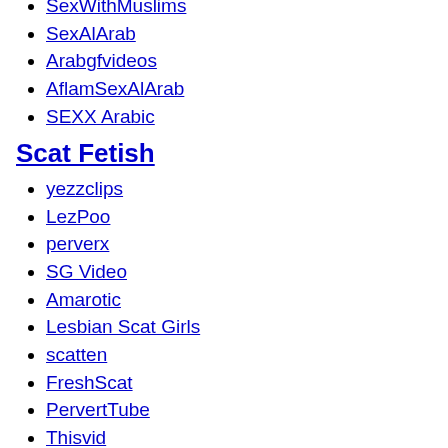SexWithMuslims
SexAlArab
Arabgfvideos
AflamSexAlArab
SEXX Arabic
Scat Fetish
yezzclips
LezPoo
perverx
SG Video
Amarotic
Lesbian Scat Girls
scatten
FreshScat
PervertTube
Thisvid
Scat
Fetishsite
Scat Porn Download
Scathunter
Poopeegirls
Scaterotica